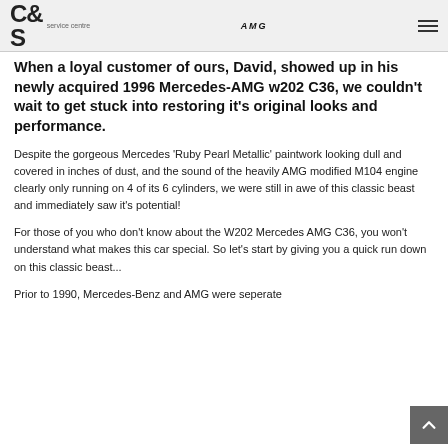C&S service centre | AMG
When a loyal customer of ours, David, showed up in his newly acquired 1996 Mercedes-AMG w202 C36, we couldn't wait to get stuck into restoring it's original looks and performance.
Despite the gorgeous Mercedes 'Ruby Pearl Metallic' paintwork looking dull and covered in inches of dust, and the sound of the heavily AMG modified M104 engine clearly only running on 4 of its 6 cylinders, we were still in awe of this classic beast and immediately saw it's potential!
For those of you who don't know about the W202 Mercedes AMG C36, you won't understand what makes this car special. So let's start by giving you a quick run down on this classic beast...
Prior to 1990, Mercedes-Benz and AMG were seperate